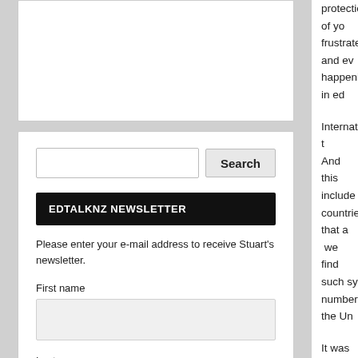[Figure (screenshot): White card/panel at top of left column, partially visible]
[Figure (screenshot): Search bar with text input and Search button]
EDTALKNZ NEWSLETTER
Please enter your e-mail address to receive Stuart's newsletter.
First name
[Figure (screenshot): First name input field (empty)]
Last name
[Figure (screenshot): Last name input field (empty)]
E-mail address
protection of yo
frustrate and ev
happening in ed
Internationally t
And this include
countries that a
 we find such sy
number) the Un
It was realised t
kind or another
reporting progre
Behind policy. W
flying an aircraf
Not only that, th
are having a gr
the imported se